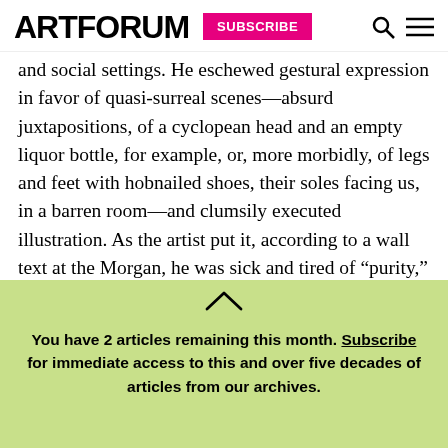ARTFORUM | SUBSCRIBE
and social settings. He eschewed gestural expression in favor of quasi-surreal scenes—absurd juxtapositions, of a cyclopean head and an empty liquor bottle, for example, or, more morbidly, of legs and feet with hobnailed shoes, their soles facing us, in a barren room—and clumsily executed illustration. As the artist put it, according to a wall text at the Morgan, he was sick and tired of “purity,” and turned to “narrative” in acknowledgment of what he once called the “cruelties of holocausts” and
You have 2 articles remaining this month. Subscribe for immediate access to this and over five decades of articles from our archives.